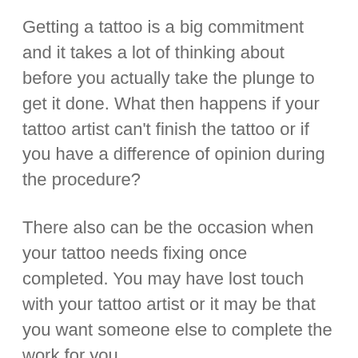Getting a tattoo is a big commitment and it takes a lot of thinking about before you actually take the plunge to get it done. What then happens if your tattoo artist can't finish the tattoo or if you have a difference of opinion during the procedure?
There also can be the occasion when your tattoo needs fixing once completed. You may have lost touch with your tattoo artist or it may be that you want someone else to complete the work for you.
The question is, will a tattoo artist finish another artist's work? The answer isn't as easy as you